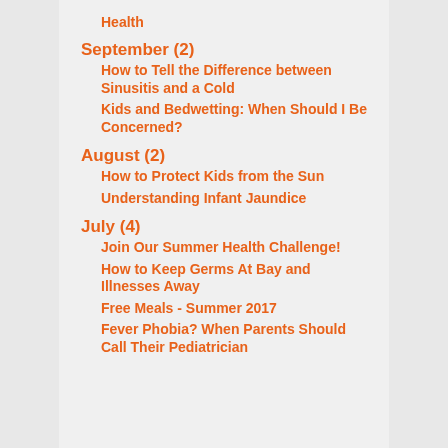Health
September (2)
How to Tell the Difference between Sinusitis and a Cold
Kids and Bedwetting: When Should I Be Concerned?
August (2)
How to Protect Kids from the Sun
Understanding Infant Jaundice
July (4)
Join Our Summer Health Challenge!
How to Keep Germs At Bay and Illnesses Away
Free Meals - Summer 2017
Fever Phobia? When Parents Should Call Their Pediatrician